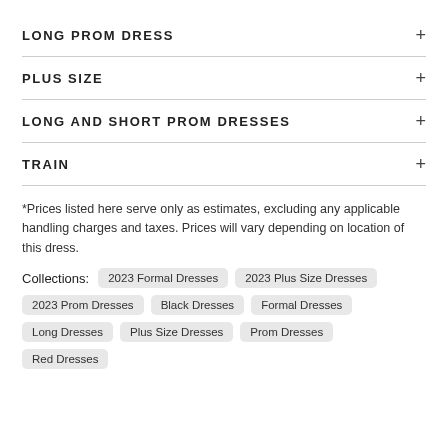LONG PROM DRESS
PLUS SIZE
LONG AND SHORT PROM DRESSES
TRAIN
*Prices listed here serve only as estimates, excluding any applicable handling charges and taxes. Prices will vary depending on location of this dress.
Collections: 2023 Formal Dresses  2023 Plus Size Dresses  2023 Prom Dresses  Black Dresses  Formal Dresses  Long Dresses  Plus Size Dresses  Prom Dresses  Red Dresses